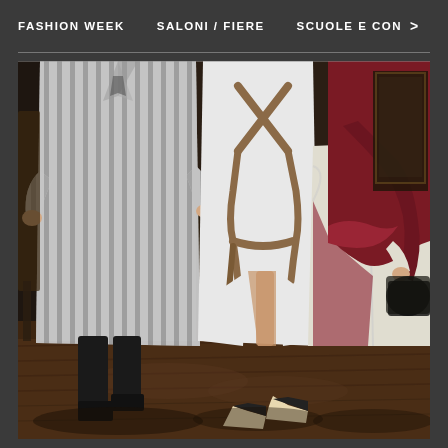FASHION WEEK   SALONI / FIERE   SCUOLE E CON >
[Figure (photo): Three fashion models standing together in long garments: left model in grey and white vertical striped long coat/dress with black boots, center model in white dress with brown cross-strap detail and split skirt with two-tone shoes, right model in cream wide-leg trousers with deep red/burgundy sash and top. Wooden floor background suggesting an elegant indoor venue.]